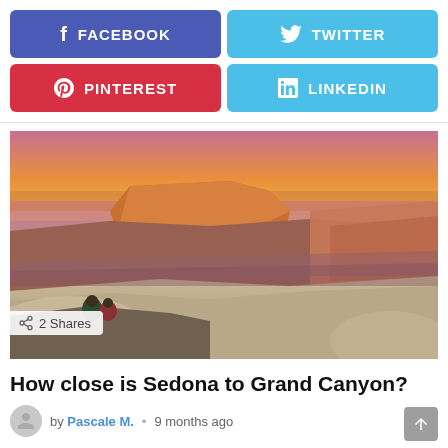[Figure (infographic): Social media share buttons: Facebook (blue-purple), Twitter (light blue), Pinterest (red), LinkedIn (light blue)]
[Figure (photo): Grand Canyon at sunset with two people sitting on a rock ledge overlooking the canyon. Orange and pink sky above layered red rock formations.]
2 Shares
How close is Sedona to Grand Canyon?
by Pascale M.  •  9 months ago